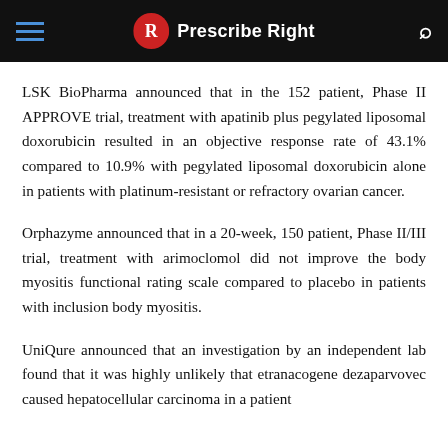Prescribe Right
LSK BioPharma announced that in the 152 patient, Phase II APPROVE trial, treatment with apatinib plus pegylated liposomal doxorubicin resulted in an objective response rate of 43.1% compared to 10.9% with pegylated liposomal doxorubicin alone in patients with platinum-resistant or refractory ovarian cancer.
Orphazyme announced that in a 20-week, 150 patient, Phase II/III trial, treatment with arimoclomol did not improve the body myositis functional rating scale compared to placebo in patients with inclusion body myositis.
UniQure announced that an investigation by an independent lab found that it was highly unlikely that etranacogene dezaparvovec caused hepatocellular carcinoma in a patient